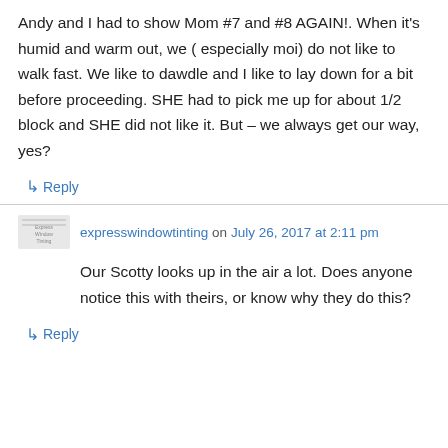Andy and I had to show Mom #7 and #8 AGAIN!. When it's humid and warm out, we ( especially moi) do not like to walk fast. We like to dawdle and I like to lay down for a bit before proceeding. SHE had to pick me up for about 1/2 block and SHE did not like it. But – we always get our way, yes?
↳ Reply
expresswindowtinting on July 26, 2017 at 2:11 pm
Our Scotty looks up in the air a lot. Does anyone notice this with theirs, or know why they do this?
↳ Reply